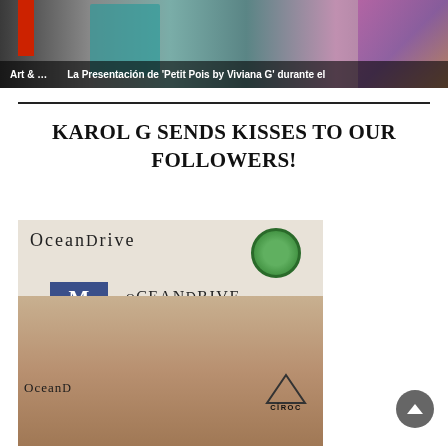[Figure (photo): Top banner showing a fashion presentation with people in colorful costumes, red flag on left, teal outfit center, colorful outfits right. Overlay text reads 'Art & ...' on left and 'La Presentación de «Petit Pois by Viviana G» durante el' on right.]
KAROL G SENDS KISSES TO OUR FOLLOWERS!
[Figure (photo): Photo of a woman (Karol G) with eyes closed in front of an Ocean Drive media wall backdrop showing logos: OCEAN DRIVE, a circular green emblem, a blue M (Mandarin) logo, and CIROC logo.]